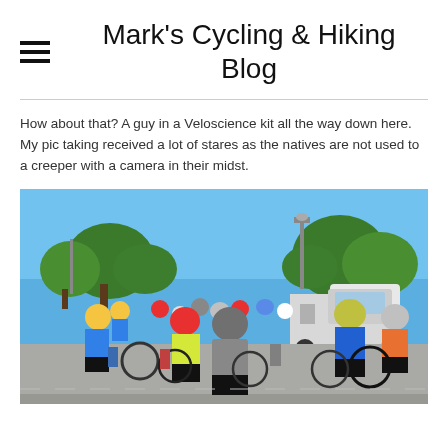Mark's Cycling & Hiking Blog
How about that?  A guy in a Veloscience kit all the way down here. My pic taking received a lot of stares as the natives are not used to a creeper with a camera in their midst.
[Figure (photo): A large group of cyclists gathered in a parking lot on a sunny day. Multiple riders wearing colorful cycling kits and helmets with bikes. Trees and a pickup truck visible in the background under a blue sky.]